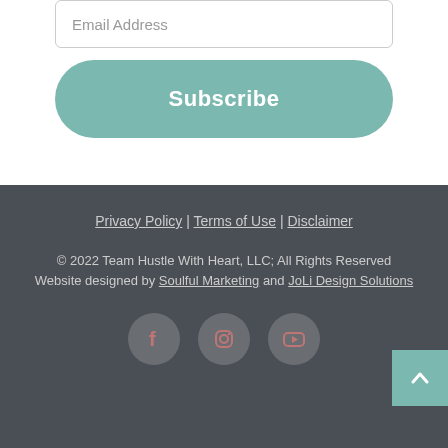Email Address
Subscribe
Privacy Policy | Terms of Use | Disclaimer
© 2022 Team Hustle With Heart, LLC; All Rights Reserved
Website designed by Soulful Marketing and JoLi Design Solutions
[Figure (illustration): Social media icons: Facebook, Instagram, YouTube in circular buttons]